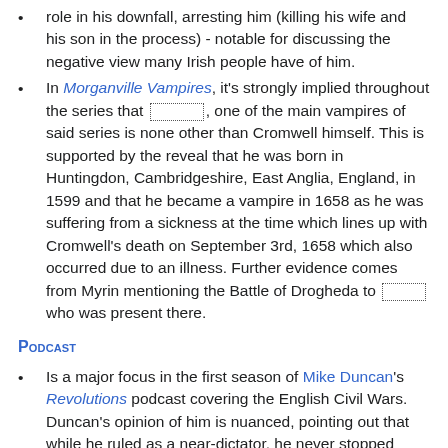role in his downfall, arresting him (killing his wife and his son in the process) - notable for discussing the negative view many Irish people have of him.
In Morganville Vampires, it's strongly implied throughout the series that [REDACTED], one of the main vampires of said series is none other than Cromwell himself. This is supported by the reveal that he was born in Huntingdon, Cambridgeshire, East Anglia, England, in 1599 and that he became a vampire in 1658 as he was suffering from a sickness at the time which lines up with Cromwell's death on September 3rd, 1658 which also occurred due to an illness. Further evidence comes from Myrin mentioning the Battle of Drogheda to [REDACTED] who was present there.
Podcast
Is a major focus in the first season of Mike Duncan's Revolutions podcast covering the English Civil Wars. Duncan's opinion of him is nuanced, pointing out that while he ruled as a near-dictator, he never stopped trying